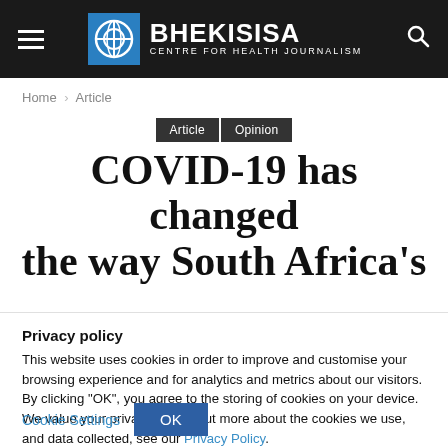BHEKISISA — CENTRE FOR HEALTH JOURNALISM
Home › Article
Article  Opinion
COVID-19 has changed the way South Africa's
Privacy policy
This website uses cookies in order to improve and customise your browsing experience and for analytics and metrics about our visitors. By clicking "OK", you agree to the storing of cookies on your device. We value your privacy, to find out more about the cookies we use, and data collected, see our Privacy Policy.
Cookie Settings  OK